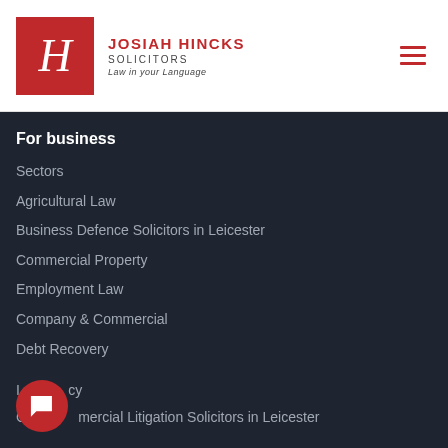[Figure (logo): Josiah Hincks Solicitors logo: red square with white H letterform, text 'JOSIAH HINCKS SOLICITORS - Law in your Language']
For business
Sectors
Agricultural Law
Business Defence Solicitors in Leicester
Commercial Property
Employment Law
Company & Commercial
Debt Recovery
Insolvency
Commercial Litigation Solicitors in Leicester